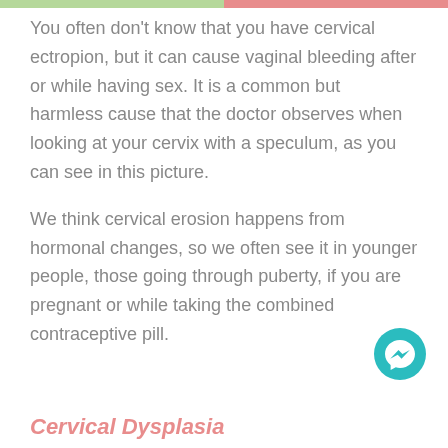You often don't know that you have cervical ectropion, but it can cause vaginal bleeding after or while having sex. It is a common but harmless cause that the doctor observes when looking at your cervix with a speculum, as you can see in this picture.
We think cervical erosion happens from hormonal changes, so we often see it in younger people, those going through puberty, if you are pregnant or while taking the combined contraceptive pill.
[Figure (illustration): Teal circular messenger/chat icon button in the bottom right area of the page]
Cervical Dysplasia